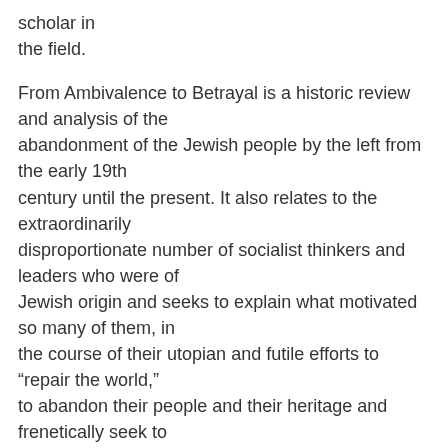scholar in the field.
From Ambivalence to Betrayal is a historic review and analysis of the abandonment of the Jewish people by the left from the early 19th century until the present. It also relates to the extraordinarily disproportionate number of socialist thinkers and leaders who were of Jewish origin and seeks to explain what motivated so many of them, in the course of their utopian and futile efforts to "repair the world," to abandon their people and their heritage and frenetically seek to deny their kinsmen the right to self-determination.
The introductory essay is a brilliant overview of the contemporary Jewish political arena viewed in the context of the concurrent rise of